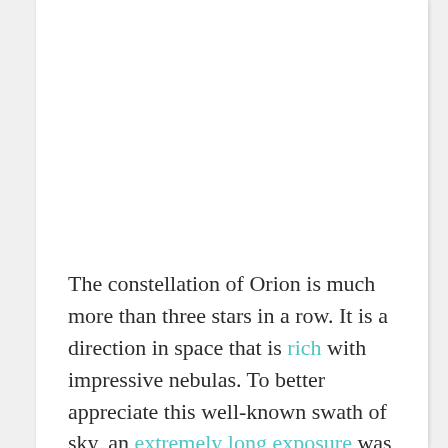The constellation of Orion is much more than three stars in a row. It is a direction in space that is rich with impressive nebulas. To better appreciate this well-known swath of sky, an extremely long exposure was taken over many clear nights in 2013 and 2014. After 212 hours of camera time and